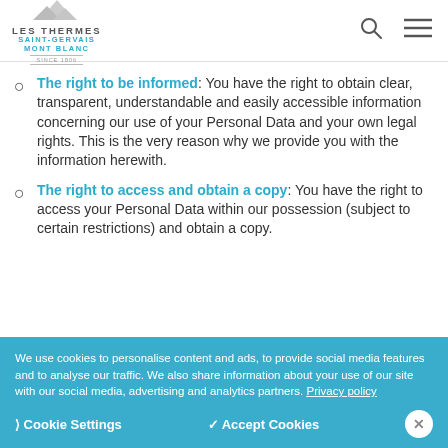Les Thermes Saint-Gervais Mont Blanc — navigation header
The right to be informed: You have the right to obtain clear, transparent, understandable and easily accessible information concerning our use of your Personal Data and your own legal rights. This is the very reason why we provide you with the information herewith.
The right to access and obtain a copy: You have the right to access your Personal Data within our possession (subject to certain restrictions) and obtain a copy.
We use cookies to personalise content and ads, to provide social media features and to analyse our traffic. We also share information about your use of our site with our social media, advertising and analytics partners. Privacy policy
❯ Cookie Settings   ✓ Accept Cookies   ✕